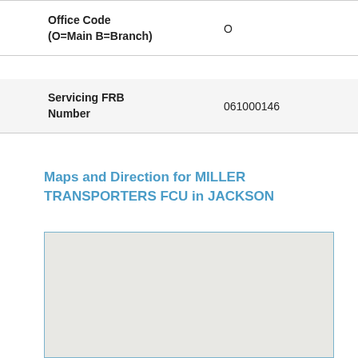| Office Code
(O=Main B=Branch) | O |
| Servicing FRB
Number | 061000146 |
Maps and Direction for MILLER TRANSPORTERS FCU in JACKSON
[Figure (map): Map placeholder showing location of MILLER TRANSPORTERS FCU in JACKSON]